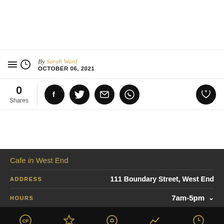By Sarah Ward
OCTOBER 06, 2021
0 Shares
Cafe in West End
ADDRESS   111 Boundary Street, West End
HOURS   7am-5pm
Home  Featured  Nearby  Popular  Latest